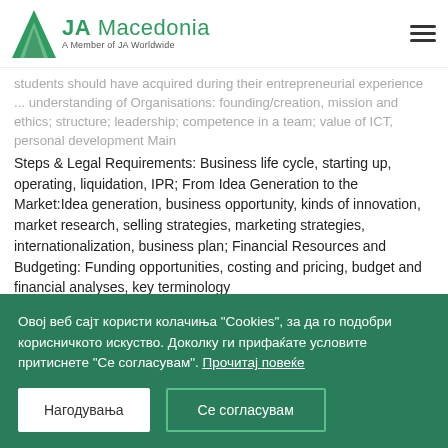JA Macedonia — A Member of JA Worldwide
students should have acquired during their entrepreneurial experience ... understanding of Organisations: founding/creation, mission and ethics; structure; leadership; competence in a team; value of ICT, personal development Main
Steps & Legal Requirements: Business life cycle, starting up, operating, liquidation, IPR; From Idea Generation to the Market:Idea generation, business opportunity, kinds of innovation, market research, selling strategies, marketing strategies, internationalization, business plan; Financial Resources and Budgeting: Funding opportunities, costing and pricing, budget and financial analyses, key terminology
Only the students fully participating in the three elements of the ESP and correctly answering 70% of the questions of the exam receive the final certificate, which is issued at international level by CSR ...
Овој веб сајт користи колачиња "Cookies", за да го подобри корисничкото искуство. Доколку ги прифаќате условите притиснете "Се согласувам". Прочитај повеќе
Нагодувања
Се согласувам